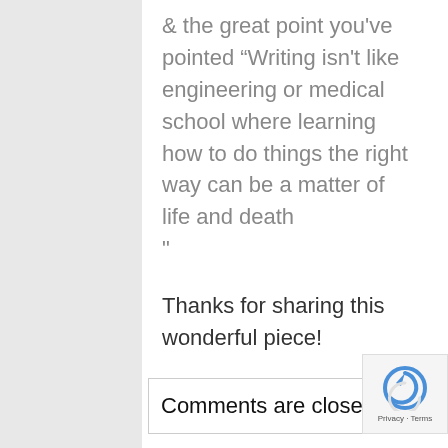& the great point you've pointed “Writing isn’t like engineering or medical school where learning how to do things the right way can be a matter of life and death”
Thanks for sharing this wonderful piece!
Comments are closed